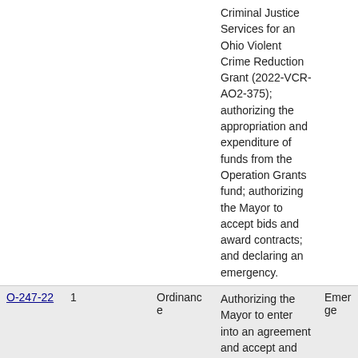| ID | # |  | Type | Description | Status |
| --- | --- | --- | --- | --- | --- |
|  |  |  |  | Criminal Justice Services for an Ohio Violent Crime Reduction Grant (2022-VCR-AO2-375); authorizing the appropriation and expenditure of funds from the Operation Grants fund; authorizing the Mayor to accept bids and award contracts; and declaring an emergency. |  |
| O-247-22 | 1 |  | Ordinance | Authorizing the Mayor to enter into an agreement and accept and deposit $220,000 from the Office of Criminal Justice | Emerge… |